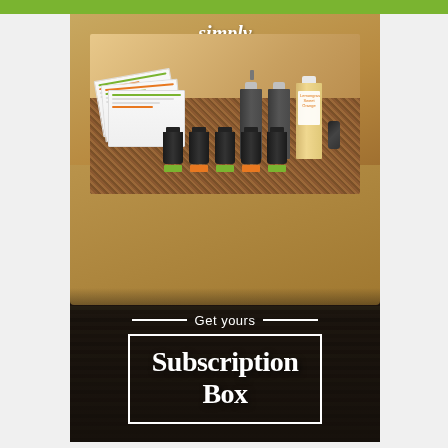[Figure (photo): Simply Earth subscription box open on a dark wood surface, showing recipe cards, spray bottles, essential oil bottles in crinkle paper, with text overlay 'Get yours Subscription Box']